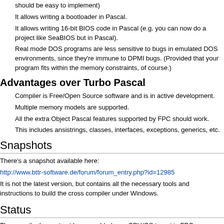should be easy to implement)
It allows writing a bootloader in Pascal.
It allows writing 16-bit BIOS code in Pascal (e.g. you can now do a project like SeaBIOS but in Pascal).
Real mode DOS programs are less sensitive to bugs in emulated DOS environments, since they're immune to DPMI bugs. (Provided that your program fits within the memory constraints, of course.)
Advantages over Turbo Pascal
Compiler is Free/Open Source software and is in active development.
Multiple memory models are supported.
All the extra Object Pascal features supported by FPC should work.
This includes ansistrings, classes, interfaces, exceptions, generics, etc.
Snapshots
There's a snapshot available here:
http://www.bttr-software.de/forum/forum_entry.php?id=12985
It is not the latest version, but contains all the necessary tools and instructions to build the cross compiler under Windows.
Status
The compiler has not yet been enabled as a CPU/OS target in FPC.exe.